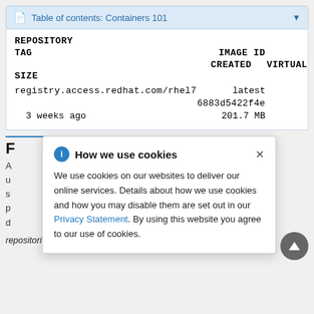Table of contents: Containers 101
| REPOSITORY | TAG | IMAGE ID | CREATED | VIRTUAL SIZE |
| --- | --- | --- | --- | --- |
| registry.access.redhat.com/rhel7 | latest | 6883d5422f4e | 3 weeks ago | 201.7 MB |
[Figure (screenshot): Cookie consent popup overlay showing 'How we use cookies' dialog with information icon, close button, body text about cookie usage, Privacy Statement link, and agree text.]
A ... ver that is u ... he registry s ... d optionally a p ... e in the d ... oush and p... repositories from registry servers.